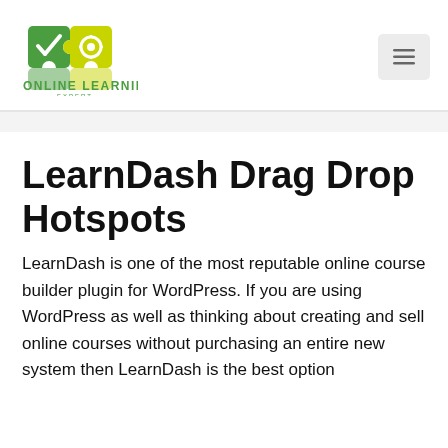[Figure (logo): Online Learning Expert logo with puzzle pieces in green and yellow]
LearnDash Drag Drop Hotspots
LearnDash is one of the most reputable online course builder plugin for WordPress. If you are using WordPress as well as thinking about creating and sell online courses without purchasing an entire new system then LearnDash is the best option